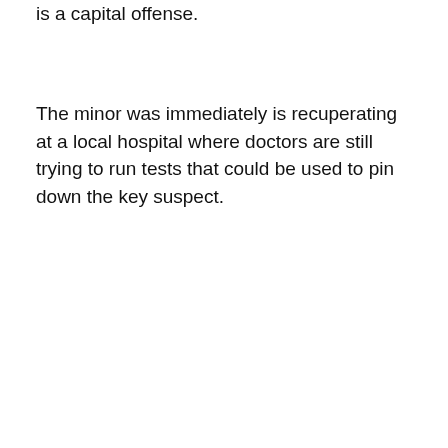is a capital offense.
The minor was immediately is recuperating at a local hospital where doctors are still trying to run tests that could be used to pin down the key suspect.